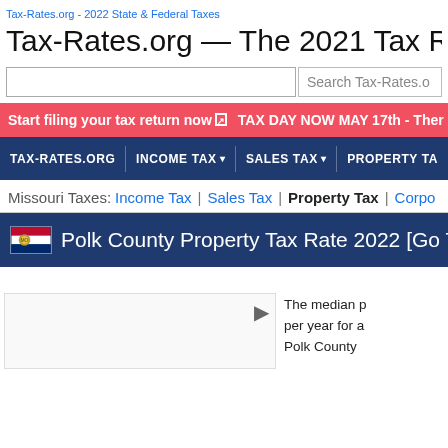Tax-Rates.org - 2022 State & Federal Taxes
Tax-Rates.org — The 2021 Tax Resource
Search Tax-Rates.o
Start filing your tax return now ↗   TAX DAY NOW MAY 17th - Ther
TAX-RATES.ORG  |  INCOME TAX ▾  |  SALES TAX ▾  |  PROPERTY TA
Missouri Taxes: Income Tax | Sales Tax | Property Tax | Corpo
Polk County Property Tax Rate 2022 [Go T
The median p per year for a Polk County